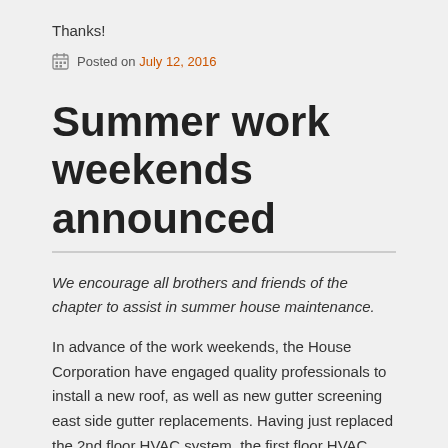Thanks!
Posted on July 12, 2016
Summer work weekends announced
We encourage all brothers and friends of the chapter to assist in summer house maintenance.
In advance of the work weekends, the House Corporation have engaged quality professionals to install a new roof, as well as new gutter screening east side gutter replacements. Having just replaced the 2nd floor HVAC system, the first floor HVAC system will also be done this summer.